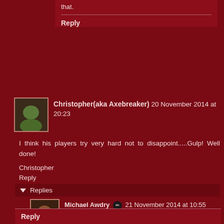that.
Reply
Christopher(aka Axebreaker) 20 November 2014 at 20:23
I think his players try very hard not to disappoint.....Gulp! Well done!
Christopher
Reply
Replies
Michael Awdry 21 November 2014 at 10:55
Thank you Christopher, I understand that his bark is worse than his bite.
Reply